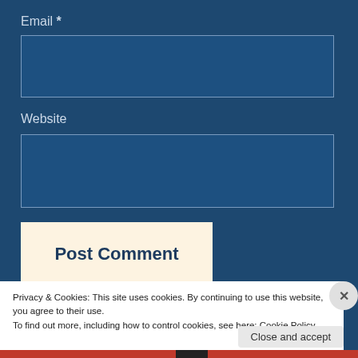Email *
[Figure (other): Email input text box (empty)]
Website
[Figure (other): Website input text box (empty)]
Post Comment
Privacy & Cookies: This site uses cookies. By continuing to use this website, you agree to their use.
To find out more, including how to control cookies, see here: Cookie Policy
Close and accept